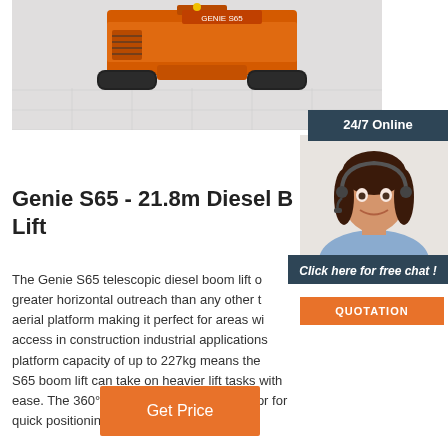[Figure (photo): Orange Genie S65 telescopic diesel boom lift with rubber tracks on a tiled floor, viewed from the front-side angle]
24/7 Online
[Figure (photo): Customer service agent woman wearing a headset, smiling, with dark hair, in a professional outfit]
Click here for free chat !
QUOTATION
Genie S65 - 21.8m Diesel Boom Lift
The Genie S65 telescopic diesel boom lift offers greater horizontal outreach than any other type of aerial platform making it perfect for areas where access in construction industrial applications. A platform capacity of up to 227kg means the S65 boom lift can take on heavier lift tasks with ease. The 360° continuous rotation allows for for quick positioning, adding to its ...
Get Price